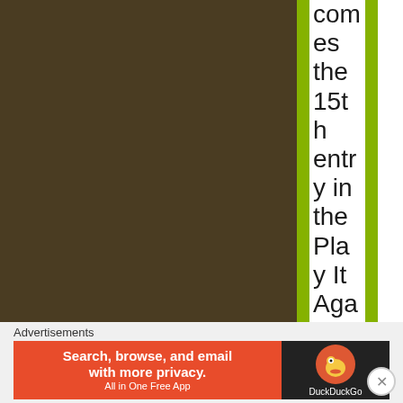[Figure (screenshot): Dark brown rectangular block occupying the left portion of the page, with a lime green vertical bar separator and a white column on the right containing vertically arranged text.]
comes the 15th entry in the Play It Again Mayhem series and it's from Snoop Dogg Featu...
Advertisements
[Figure (screenshot): DuckDuckGo advertisement banner: orange/red left panel reading 'Search, browse, and email with more privacy. All in One Free App' and a dark right panel with DuckDuckGo duck logo and brand name.]